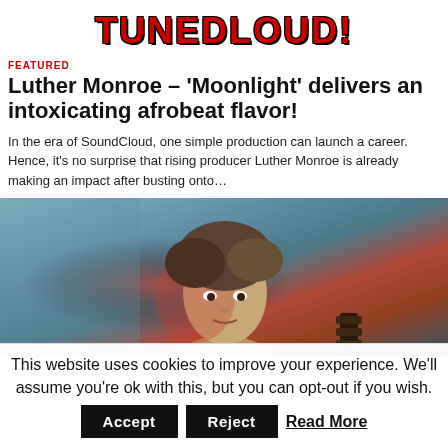TUNEDLOUD!
FEATURED
Luther Monroe – 'Moonlight' delivers an intoxicating afrobeat flavor!
In the era of SoundCloud, one simple production can launch a career. Hence, it's no surprise that rising producer Luther Monroe is already making an impact after busting onto…
[Figure (photo): Photo of Luther Monroe, a young man with brown hair holding a guitar, lit with red and teal stage lighting]
This website uses cookies to improve your experience. We'll assume you're ok with this, but you can opt-out if you wish. Accept Reject Read More